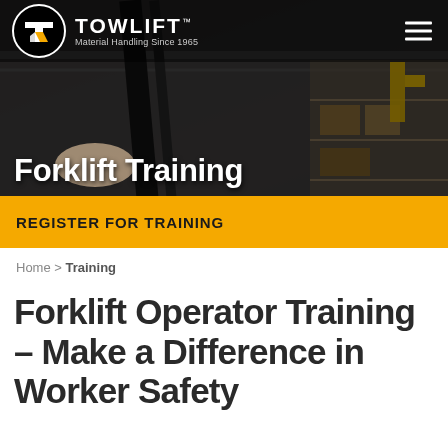[Figure (screenshot): Towlift company logo in black circle with white TL letters and yellow accent, white TOWLIFT text with TM mark, tagline 'Material Handling Since 1965', hamburger menu icon top right, all on dark semi-transparent header bar overlaying a warehouse/forklift background photo]
Forklift Training
REGISTER FOR TRAINING
Home > Training
Forklift Operator Training – Make a Difference in Worker Safety